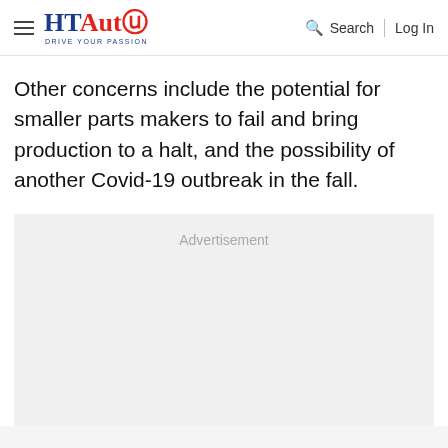HT Auto - Drive Your Passion | Search | Log In
Other concerns include the potential for smaller parts makers to fail and bring production to a halt, and the possibility of another Covid-19 outbreak in the fall.
[Figure (other): Advertisement placeholder box with grey background]